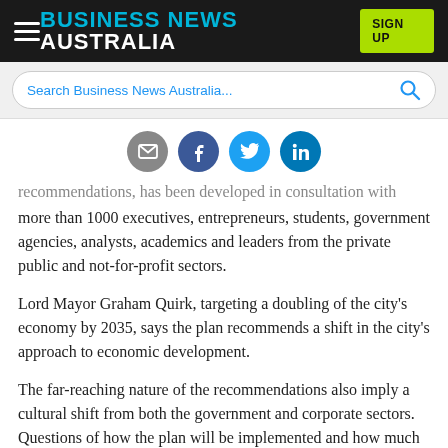BUSINESS NEWS AUSTRALIA | SIGN UP
Search Business News Australia...
[Figure (other): Social sharing icons: email, facebook, twitter, linkedin]
recommendations, has been developed in consultation with more than 1000 executives, entrepreneurs, students, government agencies, analysts, academics and leaders from the private public and not-for-profit sectors.
Lord Mayor Graham Quirk, targeting a doubling of the city's economy by 2035, says the plan recommends a shift in the city's approach to economic development.
The far-reaching nature of the recommendations also imply a cultural shift from both the government and corporate sectors. Questions of how the plan will be implemented and how much it will cost have yet to be determined.
"I now have to consider all the recommendations contained in